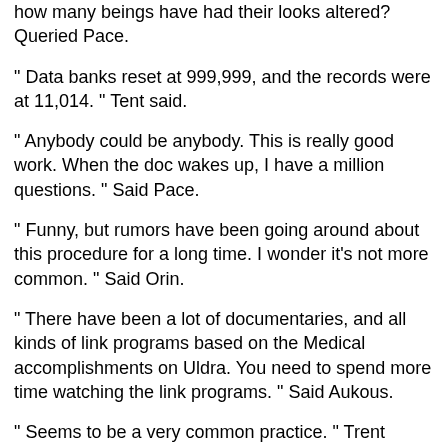how many beings have had their looks altered? Queried Pace.
" Data banks reset at 999,999, and the records were at 11,014. "  Tent said.
" Anybody could be anybody.  This is really good work.  When the doc wakes up, I have a million questions. "  Said Pace.
" Funny, but rumors have been going around about this procedure for a long time.  I wonder it's not more common. "  Said Orin.
" There have been a lot of documentaries, and all kinds of link programs based on the Medical accomplishments on Uldra.  You need to spend more time watching the link programs. "  Said Aukous.
" Seems to be a very common practice. "  Trent added.